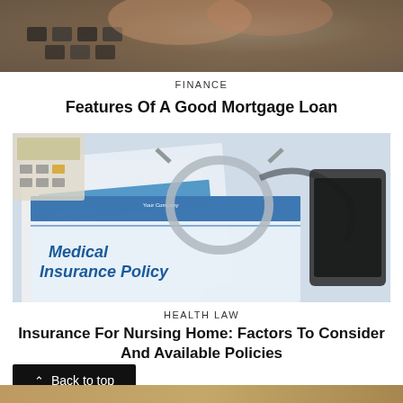[Figure (photo): Partial view of hands typing on a keyboard, top portion cropped]
FINANCE
Features Of A Good Mortgage Loan
[Figure (photo): Medical insurance policy document with a stethoscope, calculator, and tablet on top, with blue and white application forms visible]
HEALTH LAW
Insurance For Nursing Home: Factors To Consider And Available Policies
Back to top
[Figure (photo): Bottom partial photo, warm tones, partially visible]